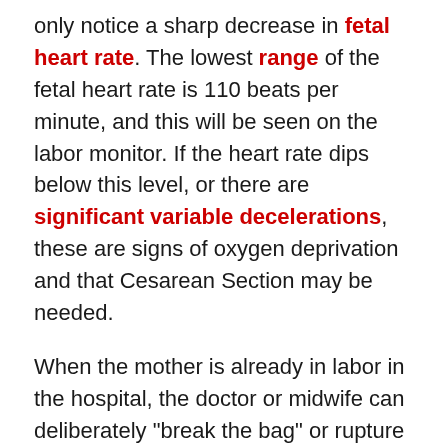only notice a sharp decrease in fetal heart rate. The lowest range of the fetal heart rate is 110 beats per minute, and this will be seen on the labor monitor. If the heart rate dips below this level, or there are significant variable decelerations, these are signs of oxygen deprivation and that Cesarean Section may be needed.
When the mother is already in labor in the hospital, the doctor or midwife can deliberately "break the bag" or rupture the membranes. Often, this is a safe procedure to speed up the process of labor. However, if the fetal head is still too far away from the cervix, the cord can slip over the baby and become part of the flow of amniotic fluid as it leaves